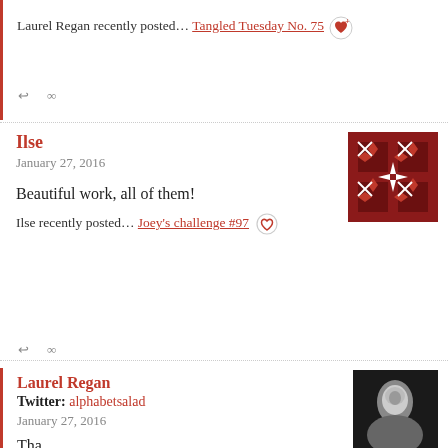Laurel Regan recently posted… Tangled Tuesday No. 75
Ilse
January 27, 2016
Beautiful work, all of them!
Ilse recently posted… Joey's challenge #97
Laurel Regan
Twitter: alphabetsalad
January 27, 2016